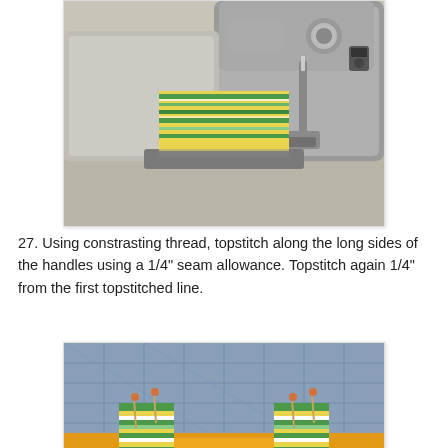[Figure (photo): Close-up of a sewing machine stitching a striped yellow and green fabric strip (bag handle) through the machine foot.]
27.  Using constrasting thread, topstitch along the long sides of the handles using a 1/4" seam allowance.  Topstitch again 1/4" from the first topstitched line.
[Figure (photo): Close-up of a yellow fabric bag with striped green and white handles pinned onto a blue cutting mat with grid lines, showing the handles attached to the bag.]